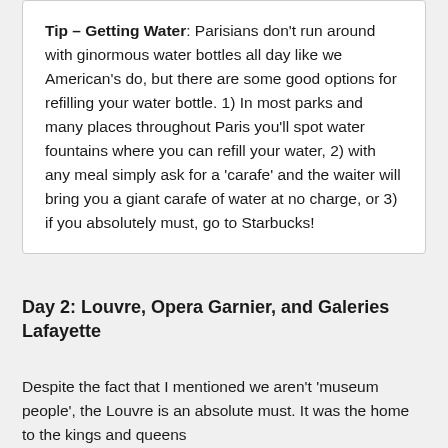Tip – Getting Water: Parisians don't run around with ginormous water bottles all day like we American's do, but there are some good options for refilling your water bottle. 1) In most parks and many places throughout Paris you'll spot water fountains where you can refill your water, 2) with any meal simply ask for a 'carafe' and the waiter will bring you a giant carafe of water at no charge, or 3) if you absolutely must, go to Starbucks!
Day 2: Louvre, Opera Garnier, and Galeries Lafayette
Despite the fact that I mentioned we aren't 'museum people', the Louvre is an absolute must. It was the home to the kings and queens